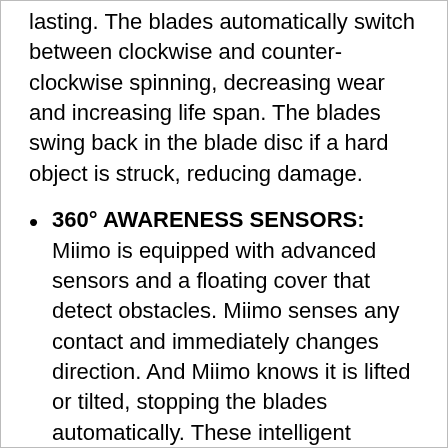lasting. The blades automatically switch between clockwise and counter-clockwise spinning, decreasing wear and increasing life span. The blades swing back in the blade disc if a hard object is struck, reducing damage.
360° AWARENESS SENSORS: Miimo is equipped with advanced sensors and a floating cover that detect obstacles. Miimo senses any contact and immediately changes direction. And Miimo knows it is lifted or tilted, stopping the blades automatically. These intelligent sensors help to keep Miimo – and its surroundings – safe.
RECHARGING SYSTEM: Miimo's long life lithium-ion battery not only offers a quiet